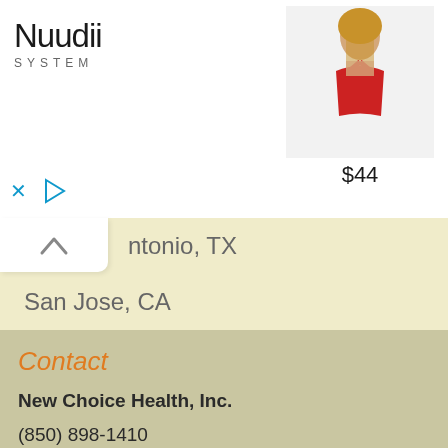[Figure (photo): Advertisement banner for Nuudii System showing a woman in a red bikini top, priced at $44]
ntonio, TX
San Jose, CA
Seattle, WA
St. Louis, MO
Contact
New Choice Health, Inc.
(850) 898-1410
3 W Garden St. Ste 206
Pensacola, FL 32502